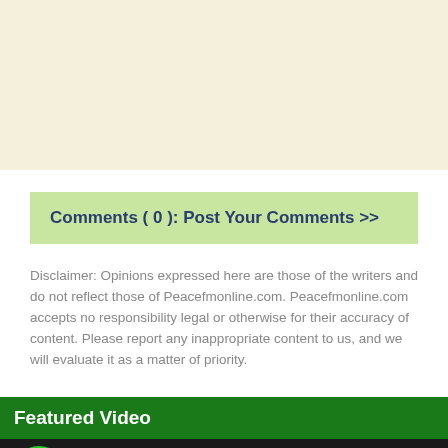[Figure (other): Top banner area with cream/beige background, likely an advertisement space]
Comments ( 0 ): Post Your Comments >>
Disclaimer: Opinions expressed here are those of the writers and do not reflect those of Peacefmonline.com. Peacefmonline.com accepts no responsibility legal or otherwise for their accuracy of content. Please report any inappropriate content to us, and we will evaluate it as a matter of priority.
Featured Video
[Figure (screenshot): Video thumbnail showing OkayFM logo and title 'Our Fight Against Sim Card Registra...' with person silhouette on dark background]